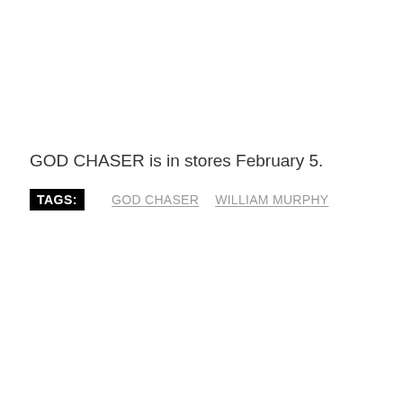GOD CHASER is in stores February 5.
TAGS: GOD CHASER  WILLIAM MURPHY